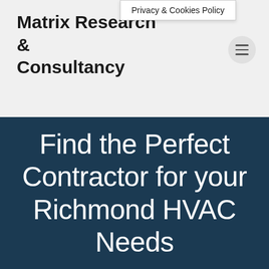Privacy & Cookies Policy
Matrix Research & Consultancy
Find the Perfect Contractor for your Richmond HVAC Needs